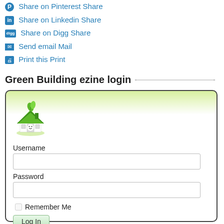Share on Pinterest Share
Share on Linkedin Share
Share on Digg Share
Send email Mail
Print this Print
Green Building ezine login
[Figure (screenshot): Login form with green building house logo, Username field, Password field, Remember Me checkbox, and Login button]
Username
Password
Remember Me